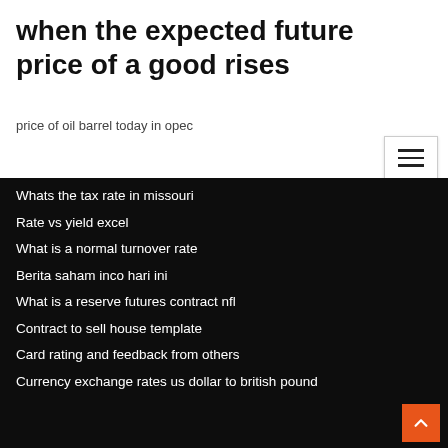when the expected future price of a good rises
price of oil barrel today in opec
Whats the tax rate in missouri
Rate vs yield excel
What is a normal turnover rate
Berita saham inco hari ini
What is a reserve futures contract nfl
Contract to sell house template
Card rating and feedback from others
Currency exchange rates us dollar to british pound